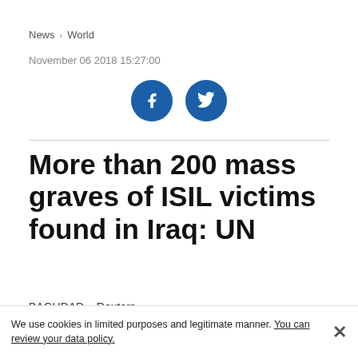News > World
November 06 2018 15:27:00
[Figure (other): Facebook and Twitter social share buttons (blue circular icons)]
More than 200 mass graves of ISIL victims found in Iraq: UN
BAGHDAD – Reuters
[Figure (photo): Partial news article photo, cropped at bottom of page]
We use cookies in limited purposes and legitimate manner. You can review your data policy.